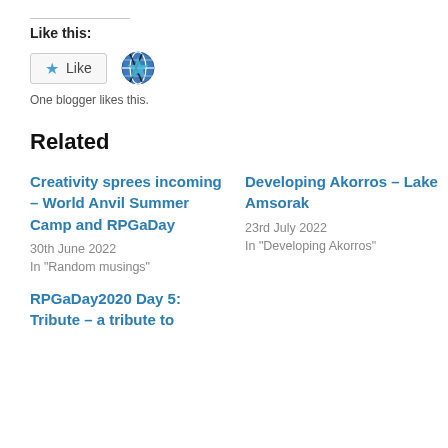Like this:
[Figure (illustration): A Like button with a star icon and a globe avatar icon next to it. Below reads 'One blogger likes this.']
Related
Creativity sprees incoming – World Anvil Summer Camp and RPGaDay
30th June 2022
In "Random musings"
Developing Akorros – Lake Amsorak
23rd July 2022
In "Developing Akorros"
RPGaDay2020 Day 5: Tribute – a tribute to